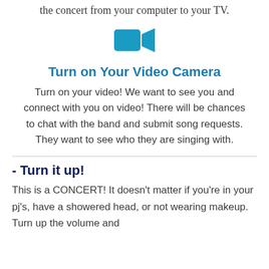the concert from your computer to your TV.
[Figure (illustration): Teal/blue video camera icon (rectangle with triangle notch on right side)]
Turn on Your Video Camera
Turn on your video! We want to see you and connect with you on video! There will be chances to chat with the band and submit song requests. They want to see who they are singing with.
- Turn it up!
This is a CONCERT! It doesn't matter if you're in your pj's, have a showered head, or not wearing makeup. Turn up the volume and